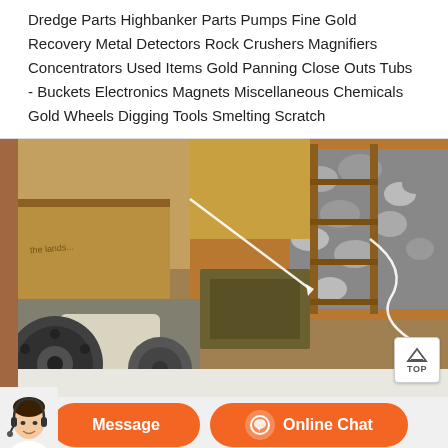Dredge Parts Highbanker Parts Pumps Fine Gold Recovery Metal Detectors Rock Crushers Magnifiers Concentrators Used Items Gold Panning Close Outs Tubs - Buckets Electronics Magnets Miscellaneous Chemicals Gold Wheels Digging Tools Smelting Scratch
[Figure (photo): Photo of gold mining / rock crushing machinery equipment — a large industrial rock crusher or mill with a flywheel, hopper, and conveyor-like structure with rocks visible, set outdoors. A white arrow/line overlay is visible. A 'TOP' button overlay appears at bottom right of the image.]
[Figure (screenshot): Chat/message action bar at the bottom of a webpage with an orange 'Message' button (left) and an orange 'Online Chat' button with a chat icon (right). A customer service agent image appears at the far left.]
Gold Prospecting Equipment At Kellyco Gold Panning